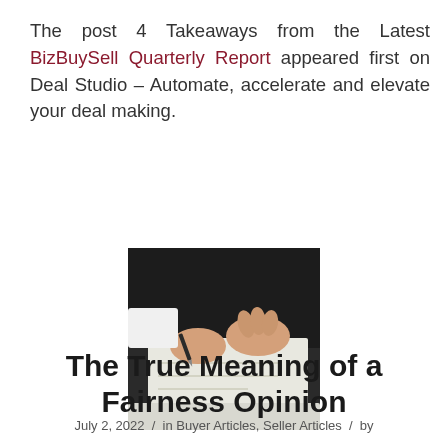The post 4 Takeaways from the Latest BizBuySell Quarterly Report appeared first on Deal Studio – Automate, accelerate and elevate your deal making.
[Figure (photo): A person signing a document with a pen, viewed from above, showing hands and paper.]
The True Meaning of a Fairness Opinion
July 2, 2022 / in Buyer Articles, Seller Articles / by